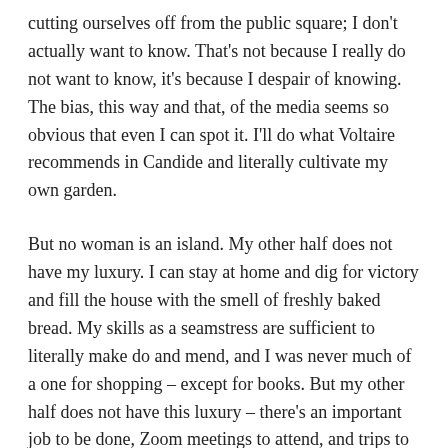cutting ourselves off from the public square; I don't actually want to know. That's not because I really do not want to know, it's because I despair of knowing. The bias, this way and that, of the media seems so obvious that even I can spot it. I'll do what Voltaire recommends in Candide and literally cultivate my own garden.
But no woman is an island. My other half does not have my luxury. I can stay at home and dig for victory and fill the house with the smell of freshly baked bread. My skills as a seamstress are sufficient to literally make do and mend, and I was never much of a one for shopping – except for books. But my other half does not have this luxury – there's an important job to be done, Zoom meetings to attend, and trips to London when necessary. In that sense, I am not an island.